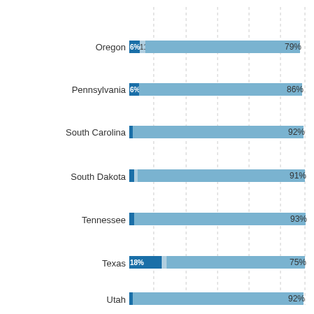[Figure (stacked-bar-chart): State broadband coverage]